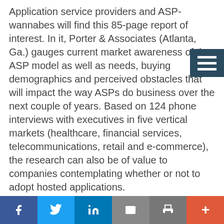Application service providers and ASP-wannabes will find this 85-page report of interest. In it, Porter & Associates (Atlanta, Ga.) gauges current market awareness of the ASP model as well as needs, buying demographics and perceived obstacles that will impact the way ASPs do business over the next couple of years. Based on 124 phone interviews with executives in five vertical markets (healthcare, financial services, telecommunications, retail and e-commerce), the research can also be of value to companies contemplating whether or not to adopt hosted applications.
The report, which sells for $999, mirrors many of the findings I've seen from the major analyst firms–in terms of common objections to ASPs, for instance--but has a more personal note to it. It includes a good deal of commentary from interviewees as well as practical suggestions for ASP vendors and has vertical market breakdowns for all responses. Among the findings: 90 percent of those surveyed were aware of ASP vendors
f  t  in  ✉  🖨  +